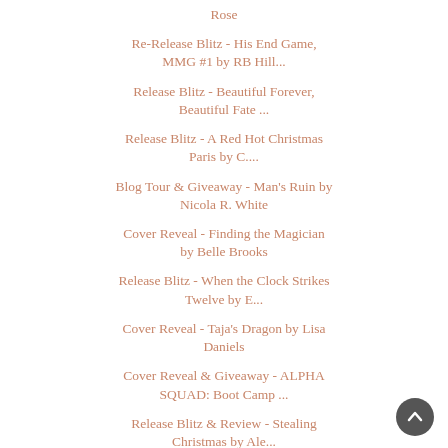Rose
Re-Release Blitz - His End Game, MMG #1 by RB Hill...
Release Blitz - Beautiful Forever, Beautiful Fate ...
Release Blitz - A Red Hot Christmas Paris by C....
Blog Tour & Giveaway - Man's Ruin by Nicola R. White
Cover Reveal - Finding the Magician by Belle Brooks
Release Blitz - When the Clock Strikes Twelve by E...
Cover Reveal - Taja's Dragon by Lisa Daniels
Cover Reveal & Giveaway - ALPHA SQUAD: Boot Camp ...
Release Blitz & Review - Stealing Christmas by Ale...
Re-Release Blitz, Review & Giveaway - The Current ...